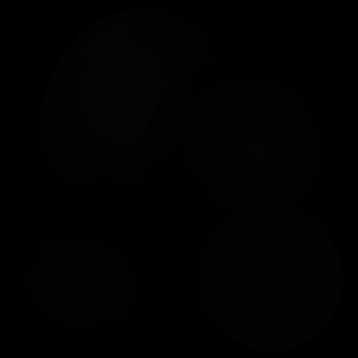[Figure (photo): A nearly entirely black image, likely a very dark or underexposed photograph. Faint textures and shapes are barely visible in the darkness, suggesting some photographic content that is extremely dark or silhouetted.]